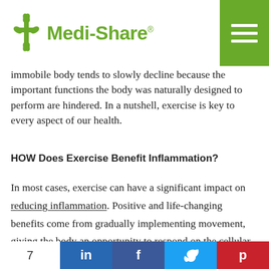Medi-Share
immobile body tends to slowly decline because the important functions the body was naturally designed to perform are hindered. In a nutshell, exercise is key to every aspect of our health.
HOW Does Exercise Benefit Inflammation?
In most cases, exercise can have a significant impact on reducing inflammation. Positive and life-changing benefits come from gradually implementing movement, giving the body an opportunity to respond on the cellular
7  in  f  Twitter  Pinterest